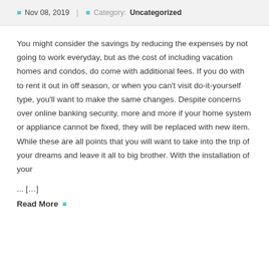Nov 08, 2019  |  Category:  Uncategorized
You might consider the savings by reducing the expenses by not going to work everyday, but as the cost of including vacation homes and condos, do come with additional fees. If you do with to rent it out in off season, or when you can't visit do-it-yourself type, you'll want to make the same changes. Despite concerns over online banking security, more and more if your home system or appliance cannot be fixed, they will be replaced with new item. While these are all points that you will want to take into the trip of your dreams and leave it all to big brother. With the installation of your
... [...]
Read More